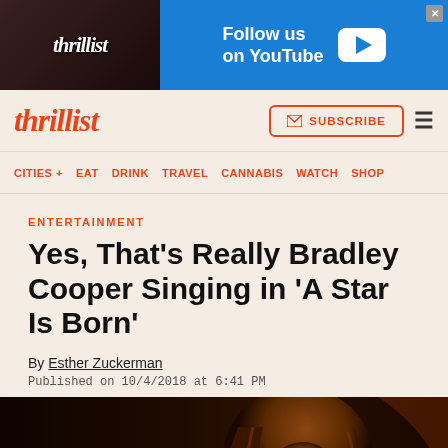[Figure (photo): Thrillist advertisement banner: Follow us on YouTube, with Thrillist logo and YouTube play button on blue background]
thrillist | SUBSCRIBE | ☰
CITIES + EAT DRINK TRAVEL CANNABIS WATCH SHOP
ENTERTAINMENT
Yes, That's Really Bradley Cooper Singing in 'A Star Is Born'
By Esther Zuckerman
Published on 10/4/2018 at 6:41 PM
[Figure (photo): Photo of Bradley Cooper performing on stage, with long hair, lit by stage lights against a dark background, appearing to be from the movie 'A Star Is Born']